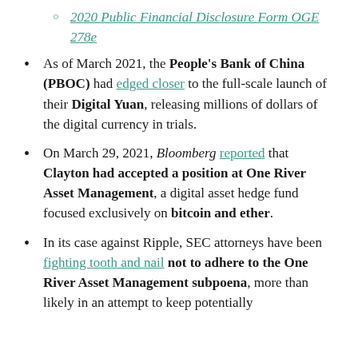2020 Public Financial Disclosure Form OGE 278e
As of March 2021, the People's Bank of China (PBOC) had edged closer to the full-scale launch of their Digital Yuan, releasing millions of dollars of the digital currency in trials.
On March 29, 2021, Bloomberg reported that Clayton had accepted a position at One River Asset Management, a digital asset hedge fund focused exclusively on bitcoin and ether.
In its case against Ripple, SEC attorneys have been fighting tooth and nail not to adhere to the One River Asset Management subpoena, more than likely in an attempt to keep potentially